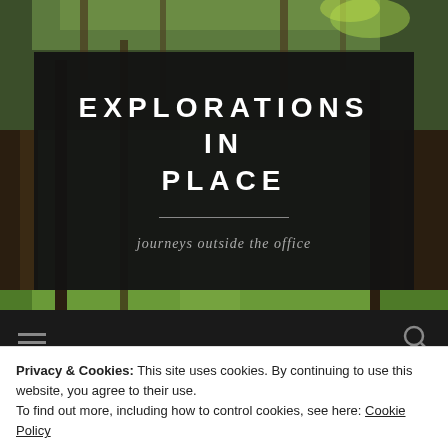[Figure (photo): Forest background with mossy trees and green undergrowth, with Spanish moss hanging from trees]
EXPLORATIONS IN PLACE
journeys outside the office
Privacy & Cookies: This site uses cookies. By continuing to use this website, you agree to their use.
To find out more, including how to control cookies, see here: Cookie Policy
Close and accept